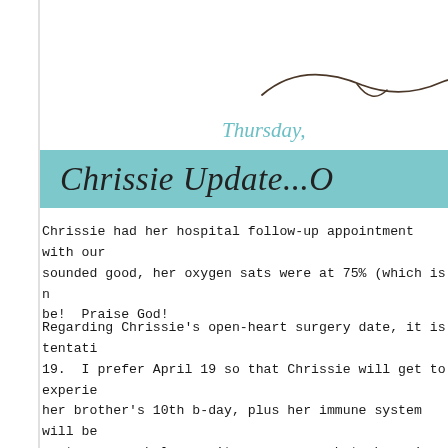[Figure (illustration): Partial cursive signature/decorative script element in dark ink, partially visible at top right of page]
Thursday,
Chrissie Update...O
Chrissie had her hospital follow-up appointment with our sounded good, her oxygen sats were at 75% (which is n be! Praise God!
Regarding Chrissie's open-heart surgery date, it is tentati 19. I prefer April 19 so that Chrissie will get to experie her brother's 10th b-day, plus her immune system will be system as a whole aren't secure enough to hang in ther fine.